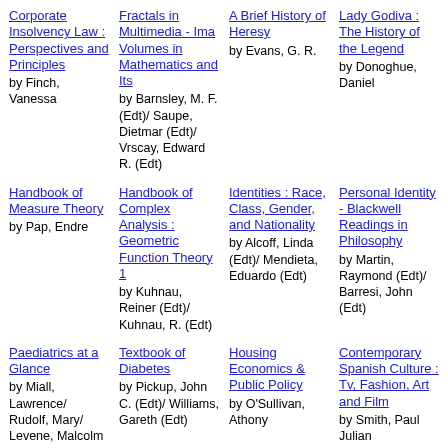Corporate Insolvency Law : Perspectives and Principles by Finch, Vanessa
Fractals in Multimedia - Ima Volumes in Mathematics and Its by Barnsley, M. F. (Edt)/ Saupe, Dietmar (Edt)/ Vrscay, Edward R. (Edt)
A Brief History of Heresy by Evans, G. R.
Lady Godiva : The History of the Legend by Donoghue, Daniel
Handbook of Measure Theory by Pap, Endre
Handbook of Complex Analysis : Geometric Function Theory 1 by Kuhnau, Reiner (Edt)/ Kuhnau, R. (Edt)
Identities : Race, Class, Gender, and Nationality by Alcoff, Linda (Edt)/ Mendieta, Eduardo (Edt)
Personal Identity - Blackwell Readings in Philosophy by Martin, Raymond (Edt)/ Barresi, John (Edt)
Paediatrics at a Glance by Miall, Lawrence/ Rudolf, Mary/ Levene, Malcolm
Textbook of Diabetes by Pickup, John C. (Edt)/ Williams, Gareth (Edt)
Housing Economics & Public Policy by O'Sullivan, Athony
Contemporary Spanish Culture : Tv, Fashion, Art and Film by Smith, Paul Julian
Understanding...
Issues...
Research...
Discourse...